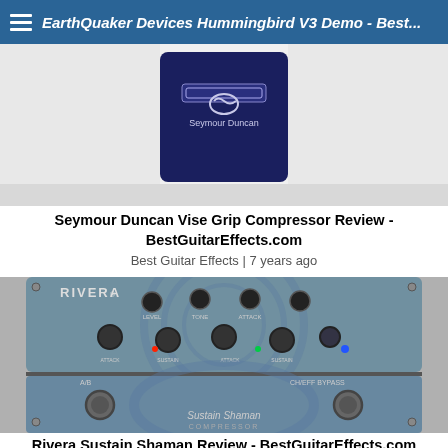EarthQuaker Devices Hummingbird V3 Demo - Best...
[Figure (photo): Seymour Duncan Vise Grip Compressor pedal on a white surface, top-down view showing the pedal face with Seymour Duncan branding]
Seymour Duncan Vise Grip Compressor Review - BestGuitarEffects.com
Best Guitar Effects | 7 years ago
[Figure (photo): Rivera Sustain Shaman Compressor pedal showing top panel with knobs labeled LEVEL, TONE, ATTACK, SUSTAIN and a blue LED indicator, with footswitches labeled A/B and CH/EFF BYPASS]
Rivera Sustain Shaman Review - BestGuitarEffects.com
Best Guitar Effects | 7 years ago
[Figure (photo): Partial view of a blue guitar effects pedal with red LED indicators in a row and gold knobs]